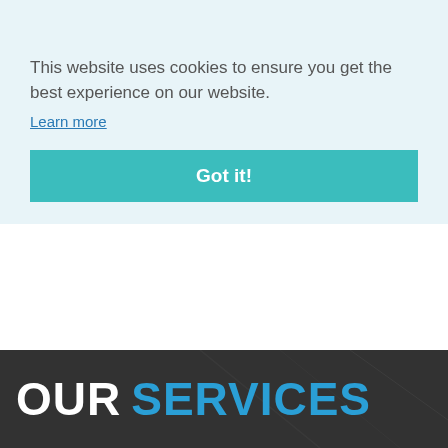[Figure (screenshot): Website navigation bar with logo and cart icon showing 0 items]
This website uses cookies to ensure you get the best experience on our website.
Learn more
Got it!
£0.00
[Figure (other): Five empty star rating icons]
[Figure (other): Blue shopping cart button and Details button with arrow]
OUR SERVICES